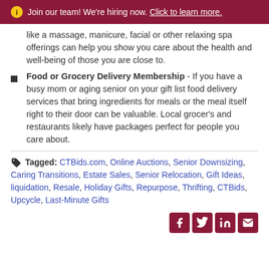Join our team! We're hiring now. Click to learn more.
like a massage, manicure, facial or other relaxing spa offerings can help you show you care about the health and well-being of those you are close to.
Food or Grocery Delivery Membership - If you have a busy mom or aging senior on your gift list food delivery services that bring ingredients for meals or the meal itself right to their door can be valuable. Local grocer's and restaurants likely have packages perfect for people you care about.
Tagged: CTBids.com, Online Auctions, Senior Downsizing, Caring Transitions, Estate Sales, Senior Relocation, Gift Ideas, liquidation, Resale, Holiday Gifts, Repurpose, Thrifting, CTBids, Upcycle, Last-Minute Gifts